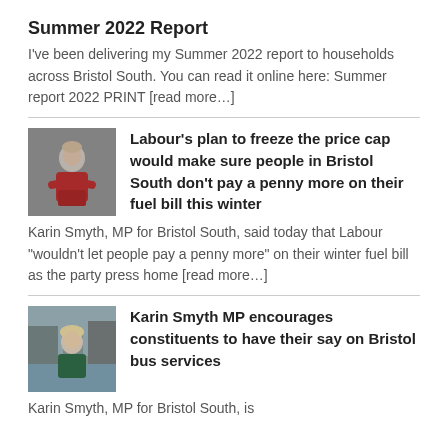Summer 2022 Report
I’ve been delivering my Summer 2022 report to households across Bristol South. You can read it online here: Summer report 2022 PRINT [read more…]
[Figure (photo): Photo of Karin Smyth MP in red jacket]
Labour’s plan to freeze the price cap would make sure people in Bristol South don’t pay a penny more on their fuel bill this winter
Karin Smyth, MP for Bristol South, said today that Labour “wouldn’t let people pay a penny more” on their winter fuel bill as the party press home [read more…]
[Figure (photo): Photo of Karin Smyth MP in green jacket outdoors]
Karin Smyth MP encourages constituents to have their say on Bristol bus services
Karin Smyth, MP for Bristol South, is